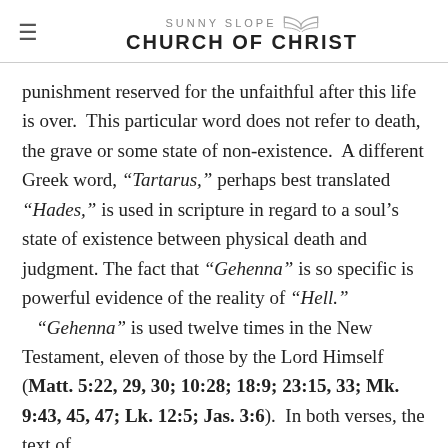Sunny Slope Church of Christ
punishment reserved for the unfaithful after this life is over. This particular word does not refer to death, the grave or some state of non-existence. A different Greek word, “Tartarus,” perhaps best translated “Hades,” is used in scripture in regard to a soul’s state of existence between physical death and judgment. The fact that “Gehenna” is so specific is powerful evidence of the reality of “Hell.” “Gehenna” is used twelve times in the New Testament, eleven of those by the Lord Himself (Matt. 5:22, 29, 30; 10:28; 18:9; 23:15, 33; Mk. 9:43, 45, 47; Lk. 12:5; Jas. 3:6). In both verses, the text of